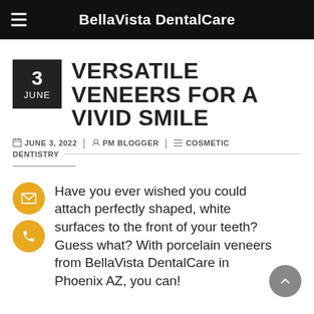BellaVista DentalCare
VERSATILE VENEERS FOR A VIVID SMILE
JUNE 3, 2022 | PM BLOGGER | COSMETIC DENTISTRY
Have you ever wished you could attach perfectly shaped, white surfaces to the front of your teeth? Guess what? With porcelain veneers from BellaVista DentalCare in Phoenix AZ, you can!